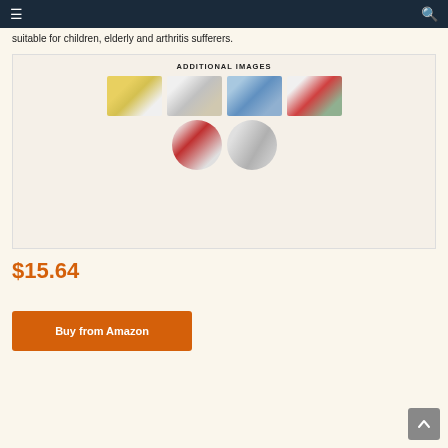Navigation bar with hamburger menu and search icon
suitable for children, elderly and arthritis sufferers.
[Figure (photo): ADDITIONAL IMAGES section showing 6 thumbnail photos of a jar opener device mounted under cabinet: yellow jar, black jar opener, green spray bottle, red can, a jar with opener parts, and opener component parts]
$15.64
Buy from Amazon